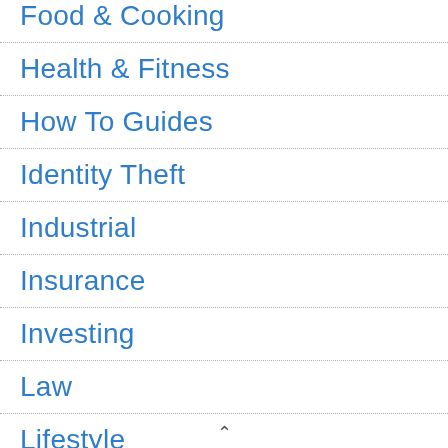Food & Cooking
Health & Fitness
How To Guides
Identity Theft
Industrial
Insurance
Investing
Law
Lifestyle
Money Managment